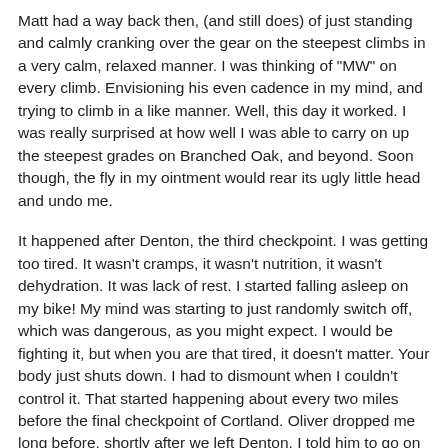Matt had a way back then, (and still does) of just standing and calmly cranking over the gear on the steepest climbs in a very calm, relaxed manner. I was thinking of "MW" on every climb. Envisioning his even cadence in my mind, and trying to climb in a like manner. Well, this day it worked. I was really surprised at how well I was able to carry on up the steepest grades on Branched Oak, and beyond. Soon though, the fly in my ointment would rear its ugly little head and undo me.
It happened after Denton, the third checkpoint. I was getting too tired. It wasn't cramps, it wasn't nutrition, it wasn't dehydration. It was lack of rest. I started falling asleep on my bike! My mind was starting to just randomly switch off, which was dangerous, as you might expect. I would be fighting it, but when you are that tired, it doesn't matter. Your body just shuts down. I had to dismount when I couldn't control it. That started happening about every two miles before the final checkpoint of Cortland. Oliver dropped me long before, shortly after we left Denton. I told him to go on ahead, as I knew I was fading. By the time I was two miles from Cortland, I knew I was done. My back locked up in a seizure.